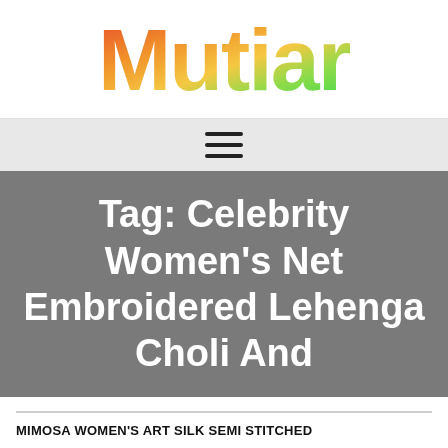[Figure (logo): Mutiar website logo with colorful gradient text (red-orange-yellow-green)]
Tag: Celebrity Women's Net Embroidered Lehenga Choli And
MIMOSA WOMEN'S ART SILK SEMI STITCHED